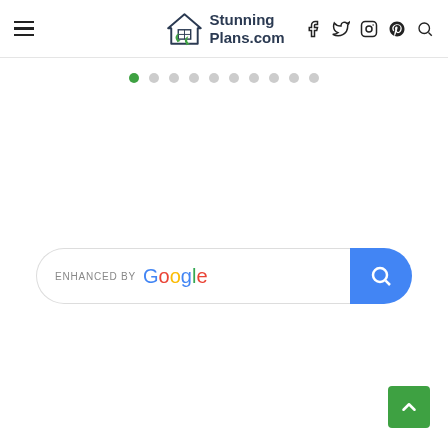StunningPlans.com — navigation header with hamburger menu, logo, and social icons
[Figure (other): Carousel navigation dots — one green filled dot followed by nine empty circles]
[Figure (other): Search bar enhanced by Google with blue search button]
[Figure (other): Green back-to-top button with upward chevron arrow in bottom-right corner]